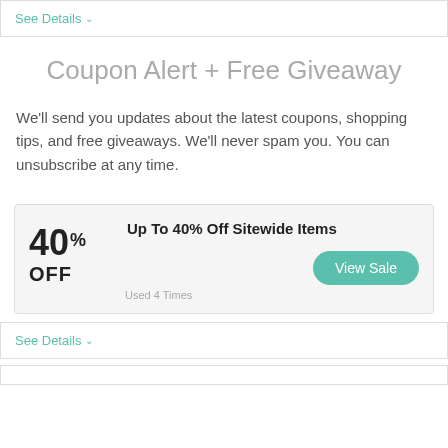See Details ∨
Coupon Alert + Free Giveaway
We'll send you updates about the latest coupons, shopping tips, and free giveaways. We'll never spam you. You can unsubscribe at any time.
40% OFF
Up To 40% Off Sitewide Items
View Sale
Used 4 Times
See Details ∨